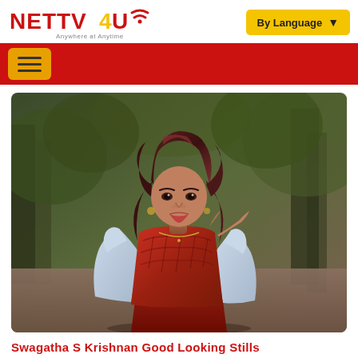[Figure (logo): NETTV4U logo with tagline 'Anywhere at Anytime']
[Figure (photo): Young woman with curly dark hair wearing a red patterned crop top and light blue shawl/jacket, standing outdoors in a park/forest setting, posing for a photo shoot]
Swagatha S Krishnan Good Looking Stills